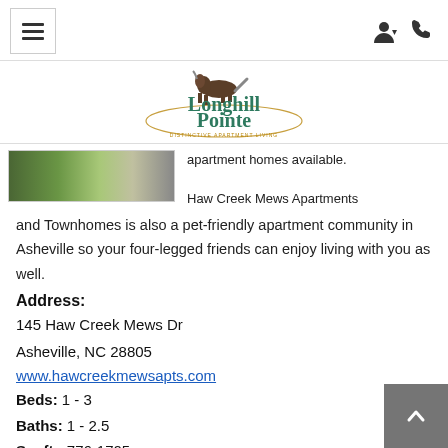Navigation header with hamburger menu, user icon, and phone icon
[Figure (logo): Longhill Pointe Distinctive Apartment Living logo with galloping horse silhouette and oval frame]
[Figure (photo): Partial exterior photo of apartment community showing driveway and green lawn]
apartment homes available. Haw Creek Mews Apartments and Townhomes is also a pet-friendly apartment community in Asheville so your four-legged friends can enjoy living with you as well.
Address:
145 Haw Creek Mews Dr
Asheville, NC 28805
www.hawcreekmewsapts.com
Beds: 1 - 3
Baths: 1 - 2.5
Sq. ft.: 776-1705